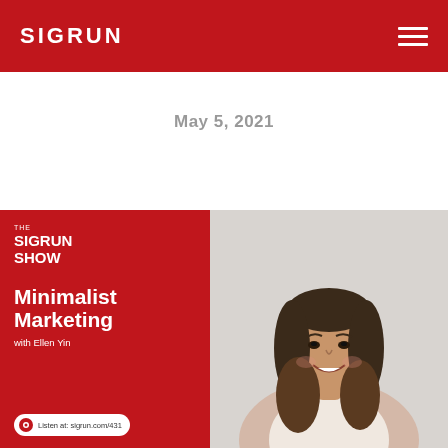SIGRUN
May 5, 2021
[Figure (illustration): Podcast cover art for The Sigrun Show episode 'Minimalist Marketing with Ellen Yin'. Left half shows red background with white text: THE SIGRUN SHOW, Minimalist Marketing, with Ellen Yin, and a listen badge at bottom reading 'Listen at: sigrun.com/431'. Right half shows a photo of a smiling Asian woman with long hair wearing a light blazer.]